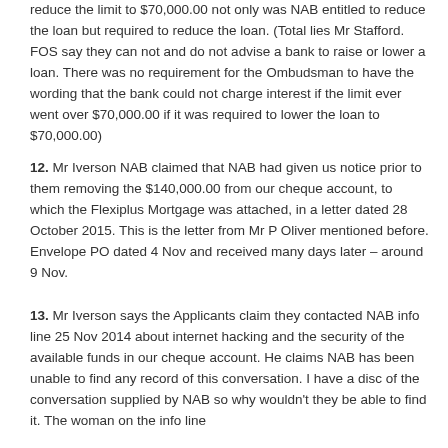reduce the limit to $70,000.00 not only was NAB entitled to reduce the loan but required to reduce the loan. (Total lies Mr Stafford. FOS say they can not and do not advise a bank to raise or lower a loan. There was no requirement for the Ombudsman to have the wording that the bank could not charge interest if the limit ever went over $70,000.00 if it was required to lower the loan to $70,000.00)
12. Mr Iverson NAB claimed that NAB had given us notice prior to them removing the $140,000.00 from our cheque account, to which the Flexiplus Mortgage was attached, in a letter dated 28 October 2015. This is the letter from Mr P Oliver mentioned before. Envelope PO dated 4 Nov and received many days later – around 9 Nov.
13. Mr Iverson says the Applicants claim they contacted NAB info line 25 Nov 2014 about internet hacking and the security of the available funds in our cheque account. He claims NAB has been unable to find any record of this conversation. I have a disc of the conversation supplied by NAB so why wouldn't they be able to find it. The woman on the info line